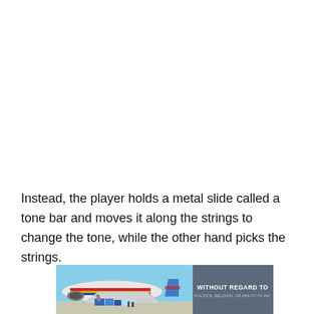Instead, the player holds a metal slide called a tone bar and moves it along the strings to change the tone, while the other hand picks the strings.
[Figure (photo): Photograph of cargo being loaded onto an aircraft with American Airlines livery (red, yellow, blue stripes). The image has an overlay banner on the right side reading 'WITHOUT REGARD TO' and smaller text below it.]